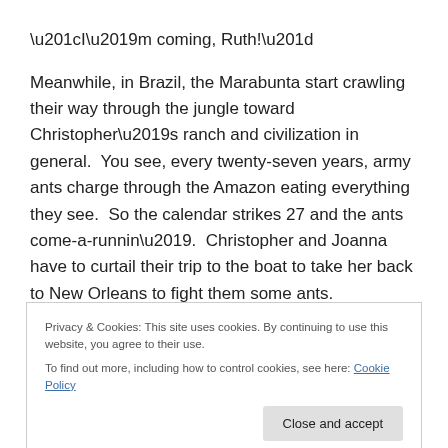“I’m coming, Ruth!”
Meanwhile, in Brazil, the Marabunta start crawling their way through the jungle toward Christopher’s ranch and civilization in general.  You see, every twenty-seven years, army ants charge through the Amazon eating everything they see.  So the calendar strikes 27 and the ants come-a-runnin’.  Christopher and Joanna have to curtail their trip to the boat to take her back to New Orleans to fight them some ants.
Privacy & Cookies: This site uses cookies. By continuing to use this website, you agree to their use.
To find out more, including how to control cookies, see here: Cookie Policy
Close and accept